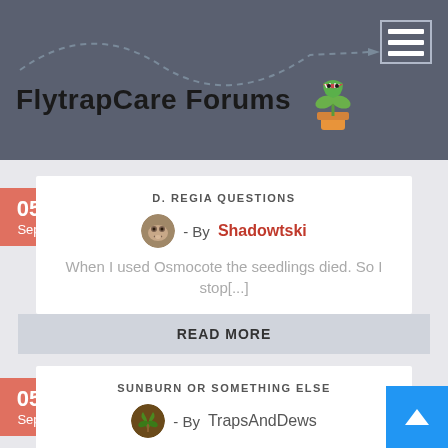FlytrapCare Forums
D. REGIA QUESTIONS
- By Shadowtski
When I used Osmocote the seedlings died. So I stop[...]
READ MORE
SUNBURN OR SOMETHING ELSE
- By TrapsAndDews
What are these spots on my nepenthes leaves?